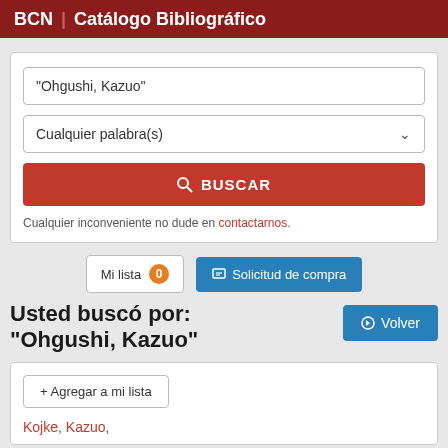BCN | Catálogo Bibliográfico
"Ohgushi, Kazuo"
Cualquier palabra(s)
BUSCAR
Cualquier inconveniente no dude en contactarnos.
Mi lista 0
Solicitud de compra
Usted buscó por:
"Ohgushi, Kazuo"
Volver
+ Agregar a mi lista
Kojke, Kazuo,